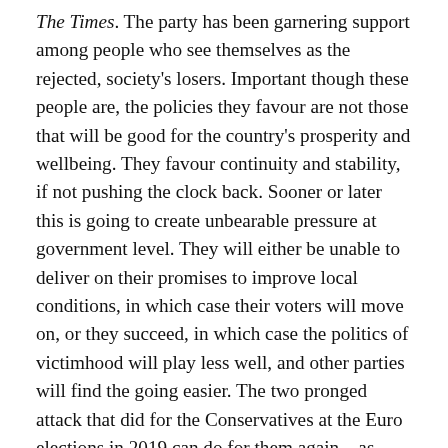The Times. The party has been garnering support among people who see themselves as the rejected, society's losers. Important though these people are, the policies they favour are not those that will be good for the country's prosperity and wellbeing. They favour continuity and stability, if not pushing the clock back. Sooner or later this is going to create unbearable pressure at government level. They will either be unable to deliver on their promises to improve local conditions, in which case their voters will move on, or they succeed, in which case the politics of victimhood will play less well, and other parties will find the going easier. The two pronged attack that did for the Conservatives at the Euro elections in 2019 can do for them again – as both professionals and populists close in on either flank. For now the Prime Minister looks likely to bluff his way through this challenge, delivering cheery words but little in the way of substantive results. But the